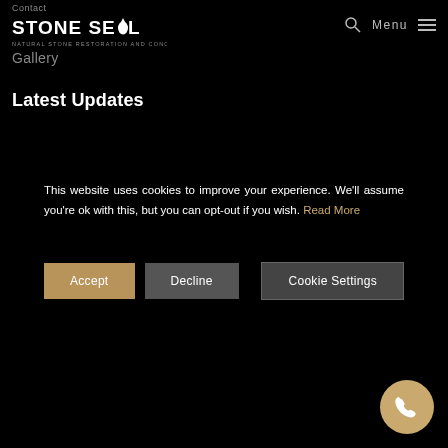Contact
[Figure (logo): Stone Seal logo - Natural Stone Restoration and Concrete Polishing]
Gallery
Menu
Latest Updates
This website uses cookies to improve your experience. We'll assume you're ok with this, but you can opt-out if you wish. Read More
Accept
Decline
Cookie Settings
[Figure (illustration): Phone call button, circular golden/tan colored button in bottom right corner]